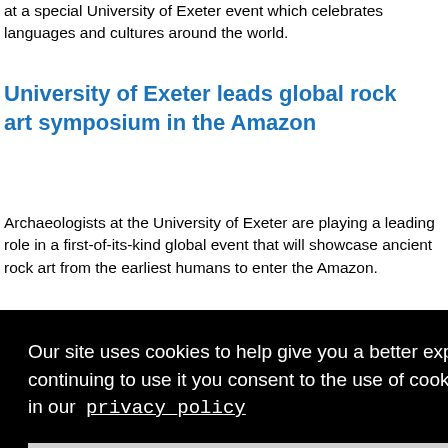at a special University of Exeter event which celebrates languages and cultures around the world.
University of Exeter leads global rock art symposium in the Amazon
Archaeologists at the University of Exeter are playing a leading role in a first-of-its-kind global event that will showcase ancient rock art from the earliest humans to enter the Amazon.
Our site uses cookies to help give you a better experience. By continuing to use it you consent to the use of cookies as set out in our  privacy_policy
Close
yright &